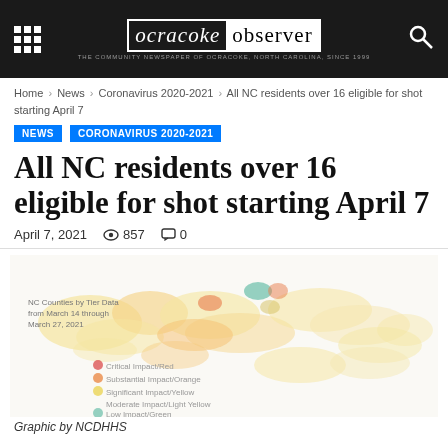ocracoke observer — THE COMMUNITY NEWSPAPER OF OCRACOKE, NORTH CAROLINA, SINCE 1999
Home › News › Coronavirus 2020-2021 › All NC residents over 16 eligible for shot starting April 7
NEWS
CORONAVIRUS 2020-2021
All NC residents over 16 eligible for shot starting April 7
April 7, 2021  857  0
[Figure (map): NC Counties by Tier Data from March 14 through March 27, 2021. Color-coded map of North Carolina counties showing: Critical Impact/Red, Substantial Impact/Orange, Significant Impact/Yellow, Moderate Impact/Light Yellow, Low Impact/Green]
Graphic by NCDHHS